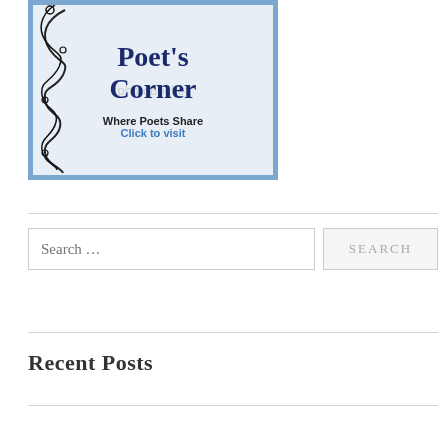[Figure (illustration): Poet's Corner banner image with decorative swirl border on left side, light blue/grey background, bold dark navy text reading Poet's Corner, subtitle Where Poets Share, and a blue link text Click to visit. Contains a photobucket watermark overlay.]
Search …
SEARCH
Recent Posts
Sweet Peggy… | johncoyote